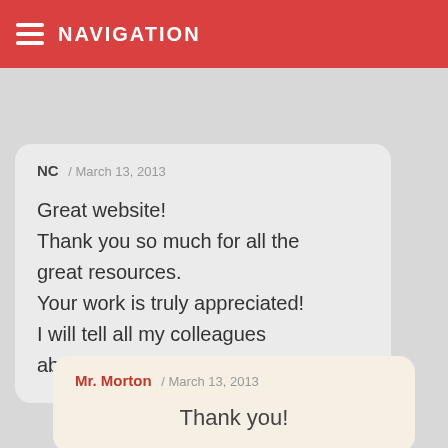NAVIGATION
in your classroom.
NC / March 13, 2013

Great website!
Thank you so much for all the great resources.
Your work is truly appreciated!
I will tell all my colleagues about your website.
Mr. Morton / March 13, 2013

Thank you!